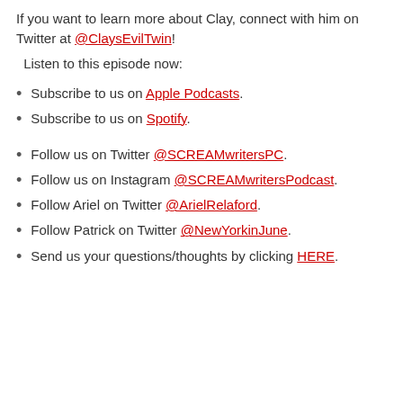If you want to learn more about Clay, connect with him on Twitter at @ClaysEvilTwin!
Listen to this episode now:
Subscribe to us on Apple Podcasts.
Subscribe to us on Spotify.
Follow us on Twitter @SCREAMwritersPC.
Follow us on Instagram @SCREAMwritersPodcast.
Follow Ariel on Twitter @ArielRelaford.
Follow Patrick on Twitter @NewYorkinJune.
Send us your questions/thoughts by clicking HERE.